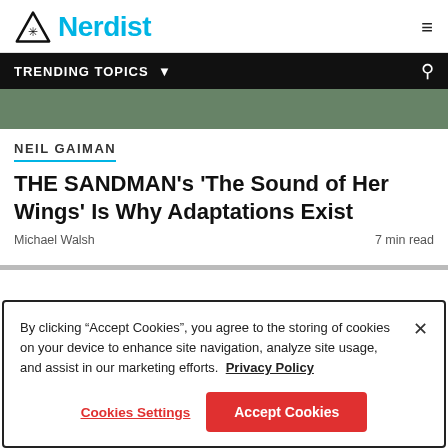Nerdist
TRENDING TOPICS
[Figure (photo): Partial hero image showing a person outdoors, cropped at top of article]
NEIL GAIMAN
THE SANDMAN's 'The Sound of Her Wings' Is Why Adaptations Exist
Michael Walsh
7 min read
By clicking “Accept Cookies”, you agree to the storing of cookies on your device to enhance site navigation, analyze site usage, and assist in our marketing efforts.  Privacy Policy
Cookies Settings
Accept Cookies